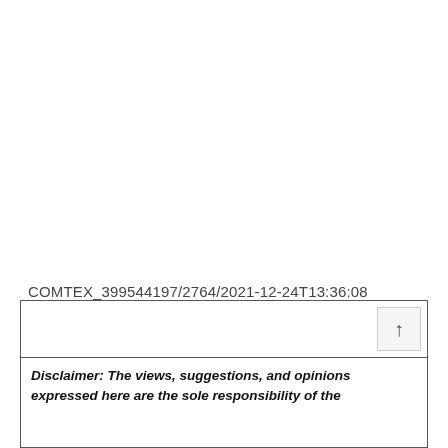COMTEX_399544197/2764/2021-12-24T13:36:08
Disclaimer: The views, suggestions, and opinions expressed here are the sole responsibility of the